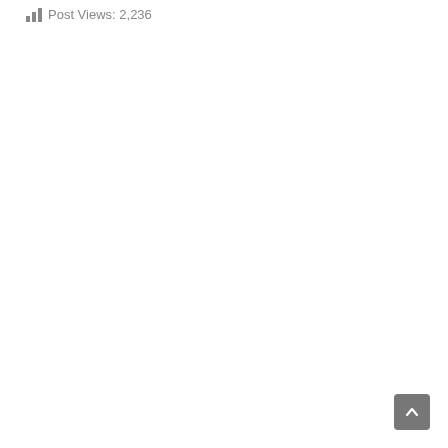Post Views: 2,236
[Figure (other): Scroll-to-top button: dark gray rounded square with an upward-pointing chevron arrow in white, positioned at bottom-right corner of the page]